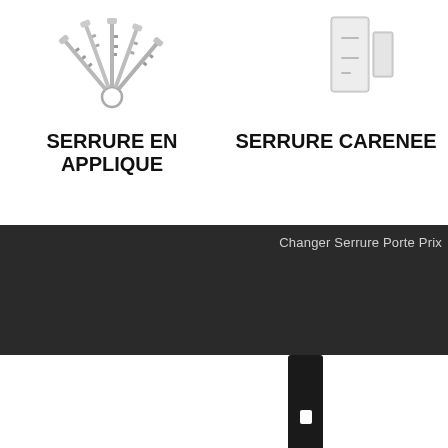[Figure (photo): Keys fanned out, product photo for serrure en applique]
[Figure (photo): Door sensor / lock accessory, product photo for serrure carenee]
SERRURE EN APPLIQUE
SERRURE CARENEE
Changer Serrure Porte Prix
[Figure (photo): Close-up of a door lock mechanism, black and silver, with REVERSIBLE text visible]